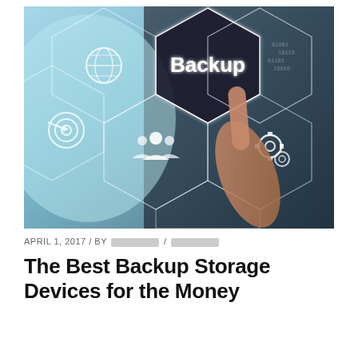[Figure (photo): A person pressing a digital interface with hexagonal tiles showing icons for backup, globe/internet, target/goal, team/people, and settings/gears. The 'Backup' tile is highlighted in dark with bold white text. The overall color scheme is blue-grey with glowing white hexagonal outlines.]
APRIL 1, 2017 / BY [redacted] / [redacted]
The Best Backup Storage Devices for the Money